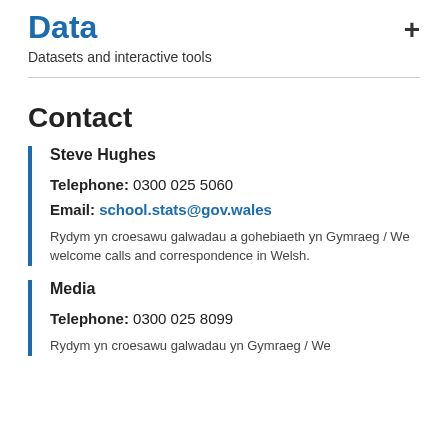Data
Datasets and interactive tools
Contact
Steve Hughes
Telephone: 0300 025 5060
Email: school.stats@gov.wales
Rydym yn croesawu galwadau a gohebiaeth yn Gymraeg / We welcome calls and correspondence in Welsh.
Media
Telephone: 0300 025 8099
Rydym yn croesawu galwadau yn Gymraeg / We